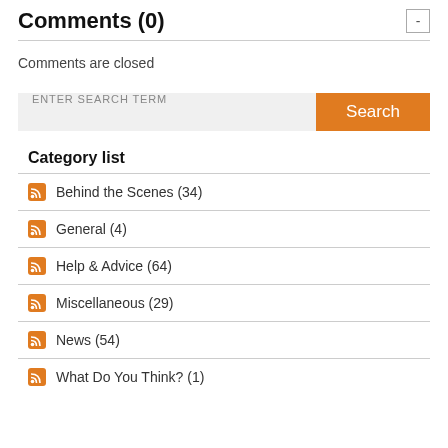Comments (0)
Comments are closed
ENTER SEARCH TERM  Search
Category list
Behind the Scenes (34)
General (4)
Help & Advice (64)
Miscellaneous (29)
News (54)
What Do You Think? (1)